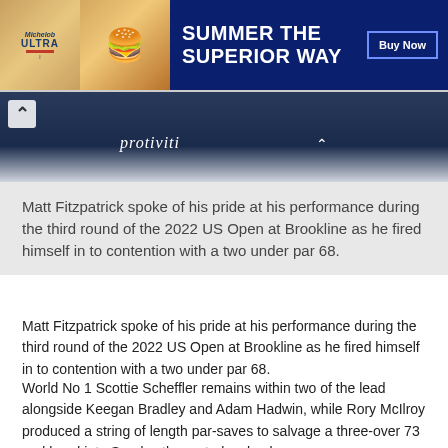[Figure (photo): Advertisement banner for Michelob ULTRA featuring a beer bottle, a burger, and the text 'SUMMER THE SUPERIOR WAY' with a Buy Now button on a dark blue background.]
[Figure (photo): Partial photo of two people wearing dark navy shirts branded with 'protiviti' and a logo that appears to be Castore, viewed from behind.]
Matt Fitzpatrick spoke of his pride at his performance during the third round of the 2022 US Open at Brookline as he fired himself in to contention with a two under par 68.
Matt Fitzpatrick spoke of his pride at his performance during the third round of the 2022 US Open at Brookline as he fired himself in to contention with a two under par 68.
World No 1 Scottie Scheffler remains within two of the lead alongside Keegan Bradley and Adam Hadwin, while Rory McIlroy produced a string of length par-saves to salvage a three-over 73 and head into Sunday three strokes back.